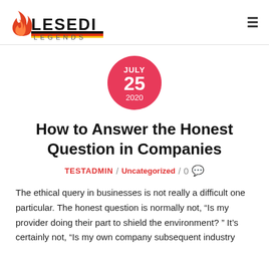LESEDI LEGENDS
[Figure (other): Date badge circle: JULY 25 2020 in red/pink circle]
How to Answer the Honest Question in Companies
TESTADMIN / Uncategorized / 0
The ethical query in businesses is not really a difficult one particular. The honest question is normally not, "Is my provider doing their part to shield the environment? " It's certainly not, "Is my own company subsequent industry